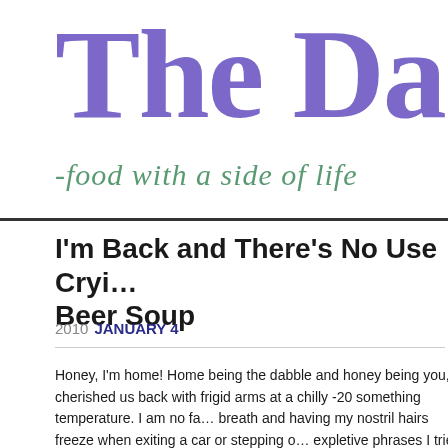The Da
-food with a side of life
I'm Back and There's No Use Cryi… Beer Soup
2010  JANUARY 4
Honey, I'm home! Home being the dabble and honey being you, cherished us back with frigid arms at a chilly -20 something temperature. I am no fa… breath and having my nostril hairs freeze when exiting a car or stepping o… expletive phrases I tried to say-tried because as I said, I couldn't catch my and merely thought of a slew of words I would only utter in these temps. C… quite frequently any time.